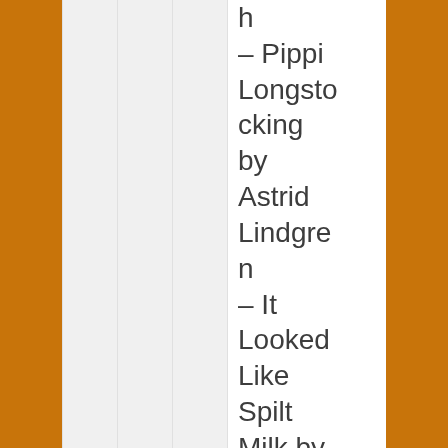h – Pippi Longstocking by Astrid Lindgren – It Looked Like Spilt Milk by Charles Shaw – Goodnight Moon by Margar